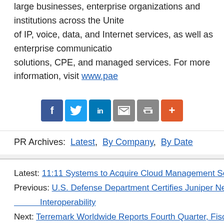large businesses, enterprise organizations and institutions across the United States. XO offers a broad range of IP, voice, data, and Internet services, as well as enterprise communications solutions, CPE, and managed services. For more information, visit www.pae...
[Figure (other): Social sharing icon bar with Facebook, Twitter, LinkedIn, Email, Print, and More buttons]
PR Archives: Latest, By Company, By Date
Latest: 11:11 Systems to Acquire Cloud Management Services Business from Su...
Previous: U.S. Defense Department Certifies Juniper Networks SSL VPN Applia... Interoperability
Next: Terremark Worldwide Reports Fourth Quarter, Fiscal Year 2010 Results